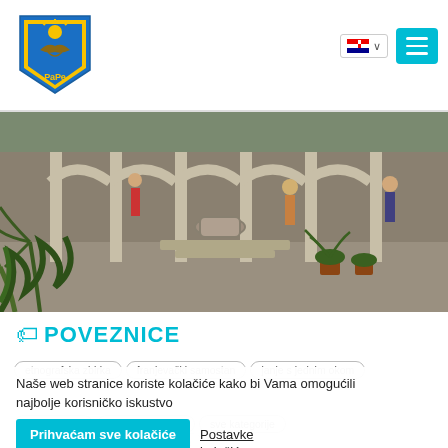[Figure (logo): PaPe municipal logo with shield, sun, bird, blue and yellow colors]
[Figure (photo): Courtyard of a Franciscan monastery with stone columns, well, palm trees and potted plants]
POVEZNICE
etnografska zbirka
franjevački samostan
janje s jednim okom
Naše web stranice koriste kolačiće kako bi Vama omogućili najbolje korisničko iskustvo
Prihvaćam sve kolačiće
Postavke kolačića
otok Košljun
ptolomejov atlas
sve kategorije
zbirka školska
zoološka zbirka